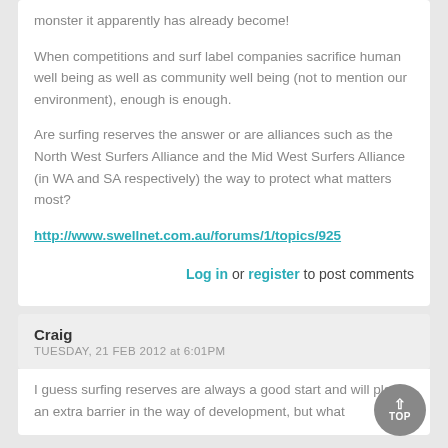monster it apparently has already become!

When competitions and surf label companies sacrifice human well being as well as community well being (not to mention our environment), enough is enough.

Are surfing reserves the answer or are alliances such as the North West Surfers Alliance and the Mid West Surfers Alliance (in WA and SA respectively) the way to protect what matters most?
http://www.swellnet.com.au/forums/1/topics/925
Log in or register to post comments
Craig
TUESDAY, 21 FEB 2012 at 6:01PM
I guess surfing reserves are always a good start and will place an extra barrier in the way of development, but what